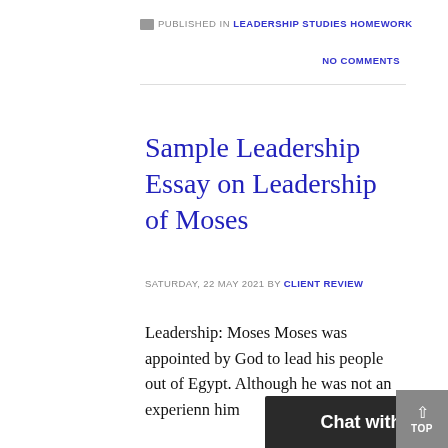PUBLISHED IN LEADERSHIP STUDIES HOMEWORK
NO COMMENTS
Sample Leadership Essay on Leadership of Moses
SATURDAY, 22 MAY 2021 BY CLIENT REVIEW
Leadership: Moses Moses was appointed by God to lead his people out of Egypt. Although he was not an experienced leader, God chose him